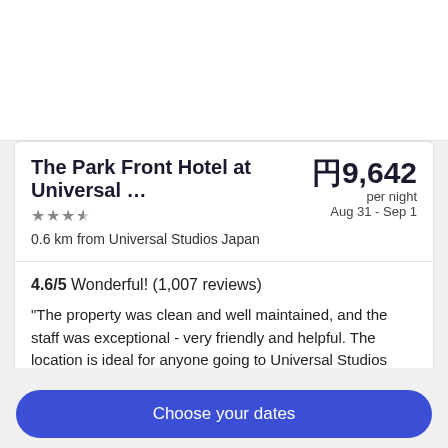The Park Front Hotel at Universal ... ¥9,642
0.6 km from Universal Studios Japan  per night  Aug 31 - Sep 1
4.6/5 Wonderful! (1,007 reviews)
"The property was clean and well maintained, and the staff was exceptional - very friendly and helpful. The location is ideal for anyone going to Universal Studios Japan."
Reviewed on Jul 31, 2022
Don't see what you're looking for?
See all available properties in Universal Studios Japan
Choose your dates